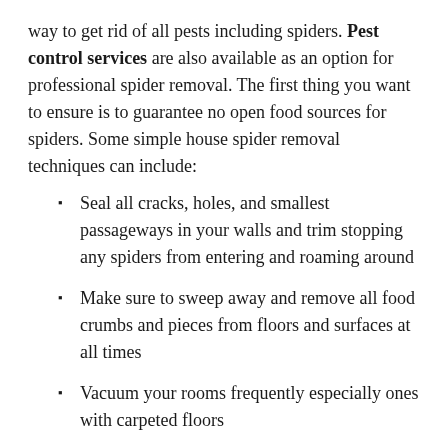way to get rid of all pests including spiders. Pest control services are also available as an option for professional spider removal. The first thing you want to ensure is to guarantee no open food sources for spiders. Some simple house spider removal techniques can include:
Seal all cracks, holes, and smallest passageways in your walls and trim stopping any spiders from entering and roaming around
Make sure to sweep away and remove all food crumbs and pieces from floors and surfaces at all times
Vacuum your rooms frequently especially ones with carpeted floors
Make sure to store all mulch, tree branches,